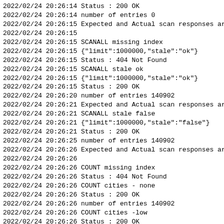2022/02/24 20:26:14 Status : 200 OK
2022/02/24 20:26:14 number of entries 0
2022/02/24 20:26:15 Expected and Actual scan responses ar
2022/02/24 20:26:15
2022/02/24 20:26:15 SCANALL missing index
2022/02/24 20:26:15 {"limit":1000000,"stale":"ok"}
2022/02/24 20:26:15 Status : 404 Not Found
2022/02/24 20:26:15 SCANALL stale ok
2022/02/24 20:26:15 {"limit":1000000,"stale":"ok"}
2022/02/24 20:26:15 Status : 200 OK
2022/02/24 20:26:20 number of entries 140902
2022/02/24 20:26:21 Expected and Actual scan responses ar
2022/02/24 20:26:21 SCANALL stale false
2022/02/24 20:26:21 {"limit":1000000,"stale":"false"}
2022/02/24 20:26:21 Status : 200 OK
2022/02/24 20:26:25 number of entries 140902
2022/02/24 20:26:26 Expected and Actual scan responses ar
2022/02/24 20:26:26
2022/02/24 20:26:26 COUNT missing index
2022/02/24 20:26:26 Status : 404 Not Found
2022/02/24 20:26:26 COUNT cities - none
2022/02/24 20:26:26 Status : 200 OK
2022/02/24 20:26:26 number of entries 140902
2022/02/24 20:26:26 COUNT cities -low
2022/02/24 20:26:26 Status : 200 OK
2022/02/24 20:26:26 number of entries 140902
2022/02/24 20:26:27 COUNT cities -high
2022/02/24 20:26:27 Status : 200 OK
2022/02/24 20:26:27 number of entries 140902
2022/02/24 20:26:27 COUNT cities - both
2022/02/24 20:26:27 Status : 200 OK